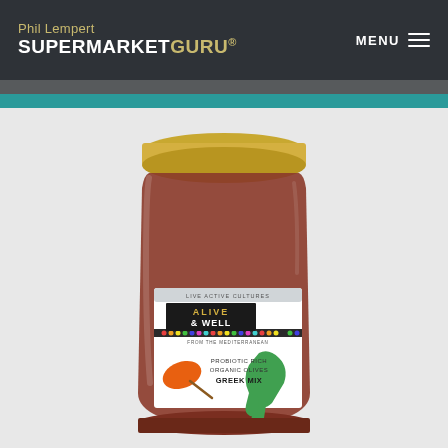Phil Lempert SUPERMARKETGURU® MENU
[Figure (photo): A glass jar with a gold lid containing Alive & Well Probiotic Rich Organic Olives Greek Mix, with an illustrated orange olive and green hand on the label. Label reads: LIVE ACTIVE CULTURES, ALIVE & WELL, FROM THE MEDITERRANEAN, PROBIOTIC RICH ORGANIC OLIVES GREEK MIX.]